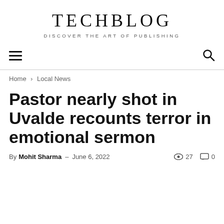TECHBLOG
DISCOVER THE ART OF PUBLISHING
Home › Local News
Pastor nearly shot in Uvalde recounts terror in emotional sermon
By Mohit Sharma – June 6, 2022  👁 27  💬 0